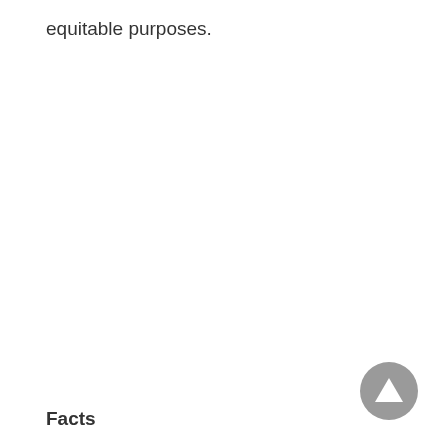equitable purposes.
[Figure (other): A gray circular navigation button with an upward-pointing triangle/arrow in the center, positioned in the bottom-right area of the page.]
Facts